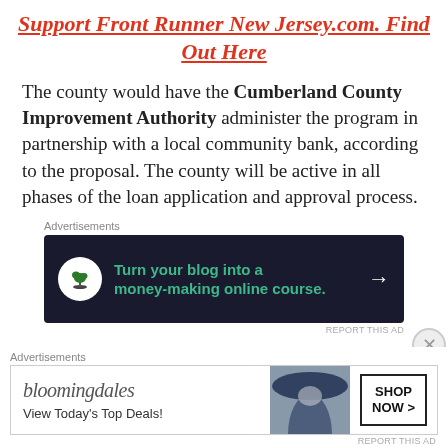Support Front Runner New Jersey.com. Find Out Here
The county would have the Cumberland County Improvement Authority administer the program in partnership with a local community bank, according to the proposal. The county will be active in all phases of the loan application and approval process.
[Figure (other): Advertisement banner: dark navy background with bonsai tree icon in white circle, green text reading 'Turn your blog into a money-making online course.' with white arrow]
“Small businesses are the heart and soul of our
[Figure (other): Bloomingdale's advertisement: logo with italic bloomingdales text, 'View Today's Top Deals!' text, image of woman with hat, 'SHOP NOW >' button in box]